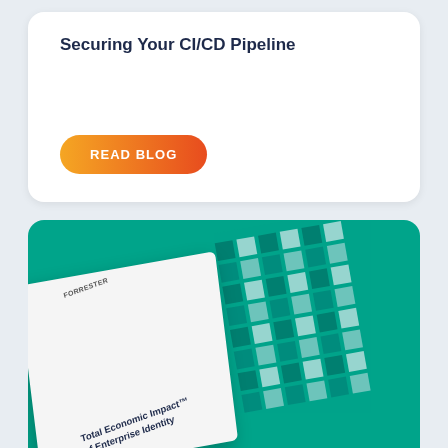Securing Your CI/CD Pipeline
READ BLOG
[Figure (photo): A white book/report titled 'Total Economic Impact of Enterprise Identity' by Forrester, displayed on a teal/green background with a grid-patterned cover design]